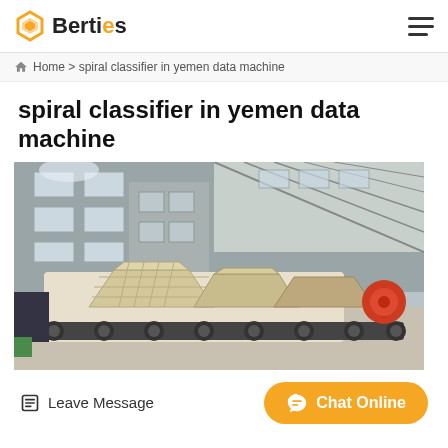Berties
Home > spiral classifier in yemen data machine
spiral classifier in yemen data machine
[Figure (photo): Industrial machinery photo showing large crushing/grinding machines (likely jaw crushers or similar mining equipment) inside a large factory warehouse with corrugated metal roof structure and multi-story building in background]
Leave Message  Chat Online